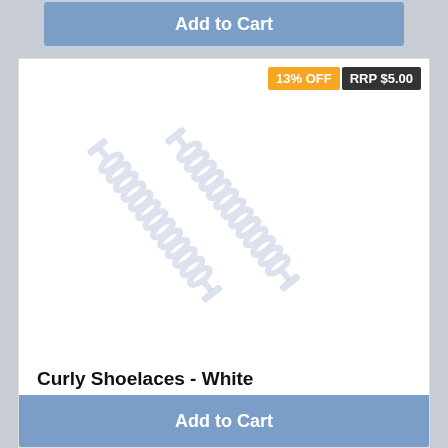Add to Cart
[Figure (photo): Two white curly/spiral elastic shoelaces with T-bar ends, shown diagonally on a white background]
13% OFF
RRP $5.00
Curly Shoelaces - White
$4.35
Add to Cart